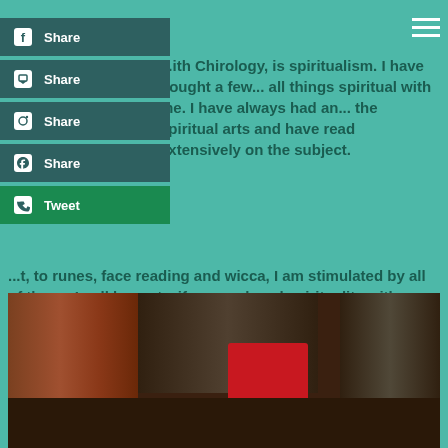Share
Share
Share
Share
Tweet
...ith Chirology, is spiritualism. I have bought a few... all things spiritual with me. I have always had an... the spiritual arts and have read extensively on the subject.
...t, to runes, face reading and wicca, I am stimulated by all of them.  In all honesty, if one replaced spirituality with 'things that can't be explained' or the study of the ESOTERIC, one would have a more accurate word or meaning.
People always tend to dismiss things they can't understand, it helps them wrestle with their own fears!
[Figure (photo): Photo of old leather-bound books stacked on a dark wooden shelf, with a red candle in the center. The books have aged brown and dark covers, one with a gold stripe detail near the bottom.]